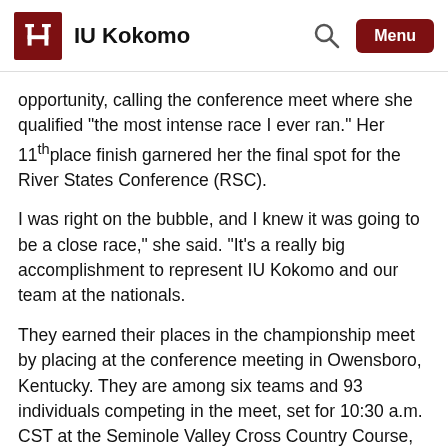IU Kokomo
opportunity, calling the conference meet where she qualified “the most intense race I ever ran.” Her 11th place finish garnered her the final spot for the River States Conference (RSC).
I was right on the bubble, and I knew it was going to be a close race,” she said. “It’s a really big accomplishment to represent IU Kokomo and our team at the nationals.
They earned their places in the championship meet by placing at the conference meeting in Owensboro, Kentucky. They are among six teams and 93 individuals competing in the meet, set for 10:30 a.m. CST at the Seminole Valley Cross Country Course, Cedar Rapids, Iowa.